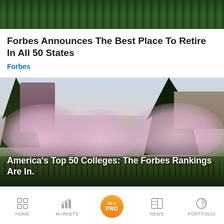[Figure (photo): Top portion of an article image, partially visible — appears to show water or a dark green outdoor scene]
Forbes Announces The Best Place To Retire In All 50 States
Forbes
[Figure (photo): University of Washington quad with cherry blossom trees in bloom, people walking on the grass, historic buildings and tall evergreen trees in background]
America's Top 50 Colleges: The Forbes Rankings Are In.
HOME   MARKETS   BE A PRO   NEWS   PORTFOLIO